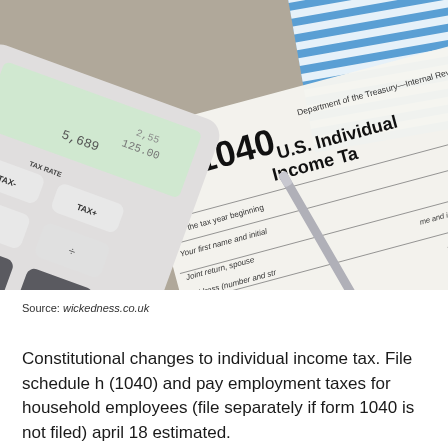[Figure (photo): A calculator with TAX RATE, TAX-, TAX+ buttons and an M+ button, sitting on top of a U.S. Individual Income Tax Form 1040 with a pen resting on it, and a blue striped document in the background.]
Source: wickedness.co.uk
Constitutional changes to individual income tax. File schedule h (1040) and pay employment taxes for household employees (file separately if form 1040 is not filed) april 18 estimated.